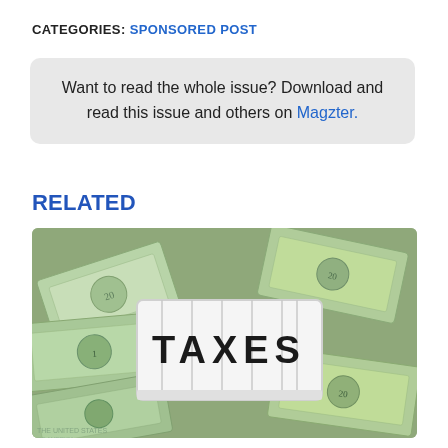CATEGORIES: SPONSORED POST
Want to read the whole issue? Download and read this issue and others on Magzter.
RELATED
[Figure (photo): Photo of US dollar bills scattered on a surface with a white lightbox sign reading 'TAXES' in bold black letters placed on top of the money.]